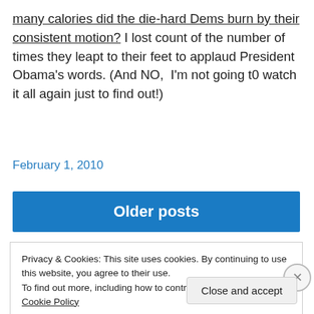many calories did the die-hard Dems burn by their consistent motion? I lost count of the number of times they leapt to their feet to applaud President Obama's words. (And NO, I'm not going t0 watch it all again just to find out!)
February 1, 2010
Older posts
Privacy & Cookies: This site uses cookies. By continuing to use this website, you agree to their use.
To find out more, including how to control cookies, see here: Cookie Policy
Close and accept